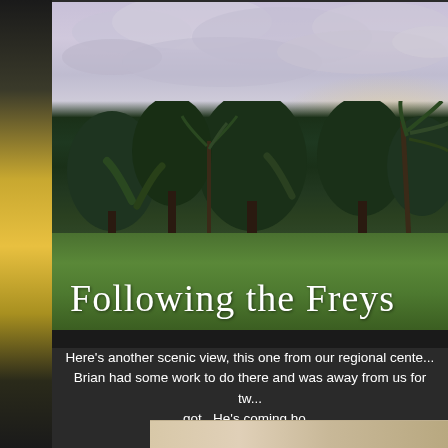[Figure (photo): Scenic tropical landscape with palm trees, lush green vegetation, grass field in foreground, and cloudy sky at dusk. Text overlay reads 'Following the Freys' in white cursive/script font.]
Here's another scenic view, this one from our regional cente... Brian had some work to do there and was away from us for tw... got.  He's coming ho...
[Figure (photo): Partial bottom image visible, appears to be a tan/beige colored scene.]